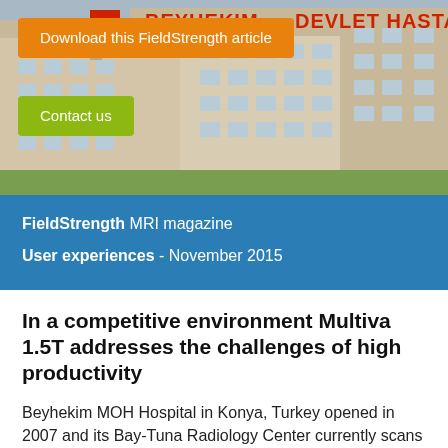[Figure (photo): Exterior photo of Beyhekim MOH Hospital building with red lettering reading BEYHEKIM DEVLET HASTANESI on the facade. Modern multi-story building with grid windows.]
Download this FieldStrength article
Contact us
FieldStrength MRI magazine
User experiences - November 2015
In a competitive environment Multiva 1.5T addresses the challenges of high productivity
Beyhekim MOH Hospital in Konya, Turkey opened in 2007 and its Bay-Tuna Radiology Center currently scans up to over 100 patients a day on its Multiva 1.5T MR system.